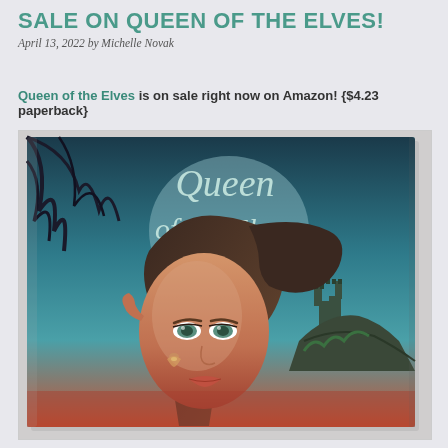SALE ON QUEEN OF THE ELVES!
April 13, 2022 by Michelle Novak
Queen of the Elves is on sale right now on Amazon! {$4.23 paperback}
[Figure (photo): Photograph of the paperback book 'Queen of the Elves' lying on a light fabric surface. The cover shows a young woman with pointed elf ears, long flowing hair, and a jewel on her cheek. The title 'Queen of the Elves' appears in large decorative font on a teal/blue background with dark tree branches and a castle on a rocky cliff in the background.]